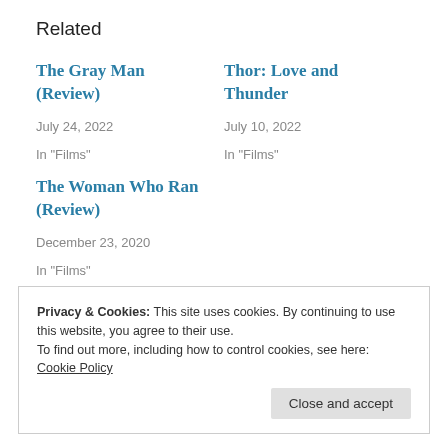Related
The Gray Man (Review)
July 24, 2022
In "Films"
Thor: Love and Thunder
July 10, 2022
In "Films"
The Woman Who Ran (Review)
December 23, 2020
In "Films"
Privacy & Cookies: This site uses cookies. By continuing to use this website, you agree to their use.
To find out more, including how to control cookies, see here: Cookie Policy